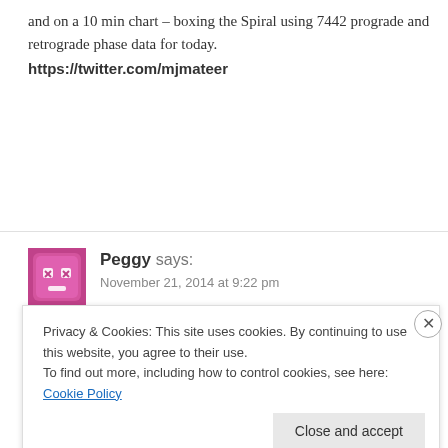and on a 10 min chart – boxing the Spiral using 7442 prograde and retrograde phase data for today.
https://twitter.com/mjmateer
REPLY
[Figure (illustration): Pink/magenta cartoon avatar icon with a cute face]
Peggy says:
November 21, 2014 at 9:22 pm
olive green boxes = prograde and retrograde phases.
REPLY
Privacy & Cookies: This site uses cookies. By continuing to use this website, you agree to their use.
To find out more, including how to control cookies, see here: Cookie Policy
Close and accept